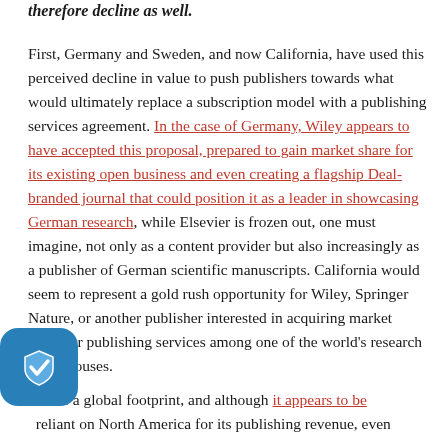therefore decline as well.
First, Germany and Sweden, and now California, have used this perceived decline in value to push publishers towards what would ultimately replace a subscription model with a publishing services agreement. In the case of Germany, Wiley appears to have accepted this proposal, prepared to gain market share for its existing open business and even creating a flagship Deal-branded journal that could position it as a leader in showcasing German research, while Elsevier is frozen out, one must imagine, not only as a content provider but also increasingly as a publisher of German scientific manuscripts. California would seem to represent a gold rush opportunity for Wiley, Springer Nature, or another publisher interested in acquiring market share for publishing services among one of the world's research powerhouses.
ier has a global footprint, and although it appears to be y reliant on North America for its publishing revenue, even